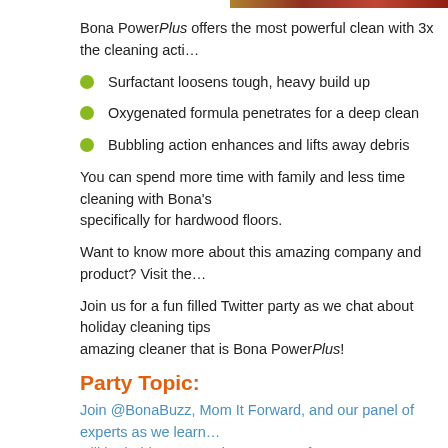[Figure (photo): Top image strip showing a product or holiday scene, partially visible]
Bona PowerPlus offers the most powerful clean with 3x the cleaning acti…
Surfactant loosens tough, heavy build up
Oxygenated formula penetrates for a deep clean
Bubbling action enhances and lifts away debris
You can spend more time with family and less time cleaning with Bona's … specifically for hardwood floors.
Want to know more about this amazing company and product? Visit the…
Join us for a fun filled Twitter party as we chat about holiday cleaning tips… amazing cleaner that is Bona PowerPlus!
Party Topic:
Join @BonaBuzz, Mom It Forward, and our panel of experts as we learn… will be held on November 28, 2017 from 9-10 p.m. ET. See giveaway info…
Party Details:
What: Girls' Night Out (#gno) Twitter Party (Click here to learn about…
When: Tuesday, November 28, 2017 from 9-10 p.m. EST
Where: Join us on your Twitter account! Just make sure to follow an…
Hashtag: #gno and #BonaHolidayClean…